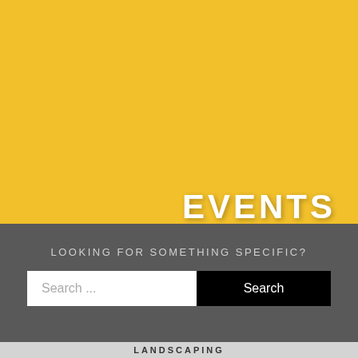[Figure (other): Large yellow/gold background banner area]
EVENTS
LOOKING FOR SOMETHING SPECIFIC?
Search ...
Search
LANDSCAPING